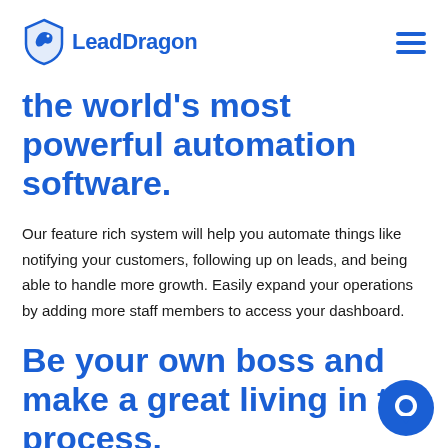[Figure (logo): LeadDragon logo: blue shield with dragon icon and text 'LeadDragon' in blue]
the world's most powerful automation software.
Our feature rich system will help you automate things like notifying your customers, following up on leads, and being able to handle more growth. Easily expand your operations by adding more staff members to access your dashboard.
Be your own boss and make a great living in the process.
[Figure (illustration): Blue chat bubble / messenger icon in bottom right corner]